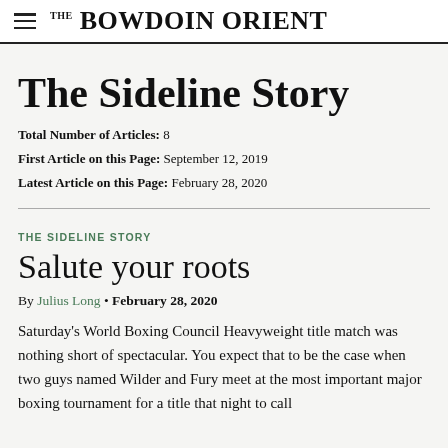THE BOWDOIN ORIENT
The Sideline Story
Total Number of Articles: 8
First Article on this Page: September 12, 2019
Latest Article on this Page: February 28, 2020
THE SIDELINE STORY
Salute your roots
By Julius Long • February 28, 2020
Saturday's World Boxing Council Heavyweight title match was nothing short of spectacular. You expect that to be the case when two guys named Wilder and Fury meet at the most important major boxing tournament for a title that night to call